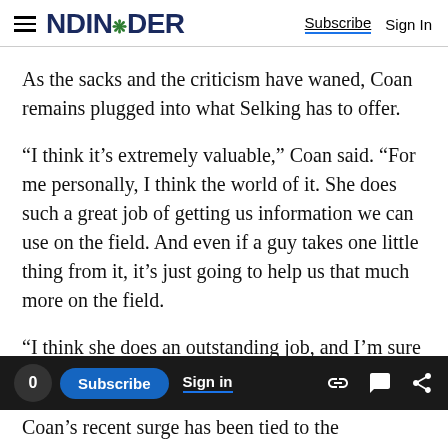NDINSiDER | Subscribe  Sign In
As the sacks and the criticism have waned, Coan remains plugged into what Selking has to offer.
“I think it’s extremely valuable,” Coan said. “For me personally, I think the world of it. She does such a great job of getting us information we can use on the field. And even if a guy takes one little thing from it, it’s just going to help us that much more on the field.
“I think she does an outstanding job, and I’m sure I’ll keep in contact with her for a while.”
0  Subscribe  Sign in  [icons]
Coan’s recent surge has been tied to the